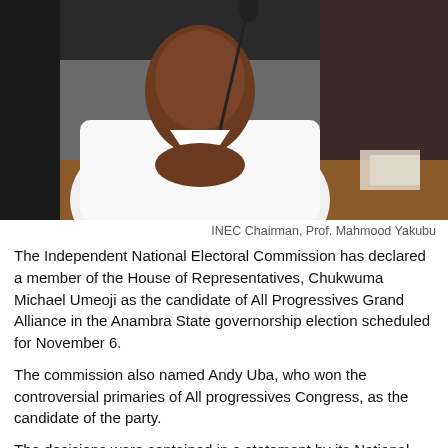[Figure (photo): Photo of INEC Chairman Prof. Mahmood Yakubu seated at a table with a microphone, wearing a white outfit, with hands clasped.]
INEC Chairman, Prof. Mahmood Yakubu
The Independent National Electoral Commission has declared a member of the House of Representatives, Chukwuma Michael Umeoji as the candidate of All Progressives Grand Alliance in the Anambra State governorship election scheduled for November 6.
The commission also named Andy Uba, who won the controversial primaries of All progressives Congress, as the candidate of the party.
The decisions were contained in a statement by its National Commissioner and Chairman (Information and Voter Education Committee), Festus Okoye, after its meeting held in Abuja on Thursday.
The commission in the decision published on Friday also